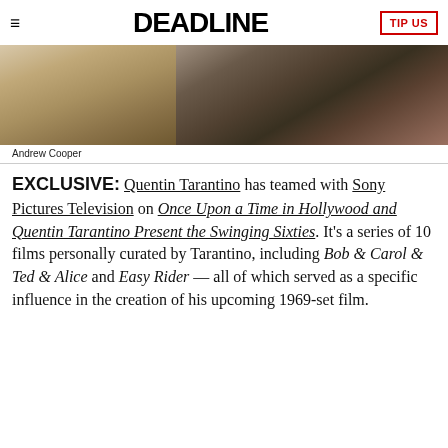DEADLINE — TIP US
[Figure (photo): Two-panel photograph: left panel shows a blurred figure with light hair, right panel shows a person operating a film camera]
Andrew Cooper
EXCLUSIVE: Quentin Tarantino has teamed with Sony Pictures Television on Once Upon a Time in Hollywood and Quentin Tarantino Present the Swinging Sixties. It's a series of 10 films personally curated by Tarantino, including Bob & Carol & Ted & Alice and Easy Rider — all of which served as a specific influence in the creation of his upcoming 1969-set film.